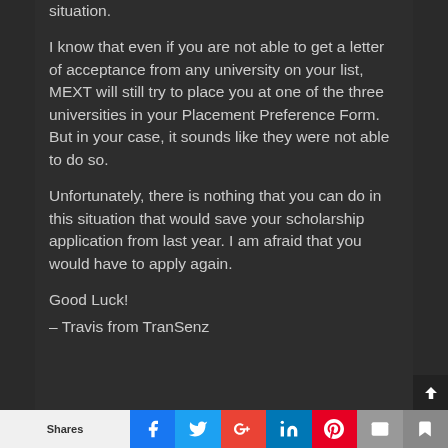situation.
I know that even if you are not able to get a letter of acceptance from any university on your list, MEXT will still try to place you at one of the three universities in your Placement Preference Form. But in your case, it sounds like they were not able to do so.
Unfortunately, there is nothing that you can do in this situation that would save your scholarship application from last year. I am afraid that you would have to apply again.
Good Luck!
– Travis from TranSenz
Shares | Facebook | Twitter | Google+ | LinkedIn | Pinterest | Email | Save